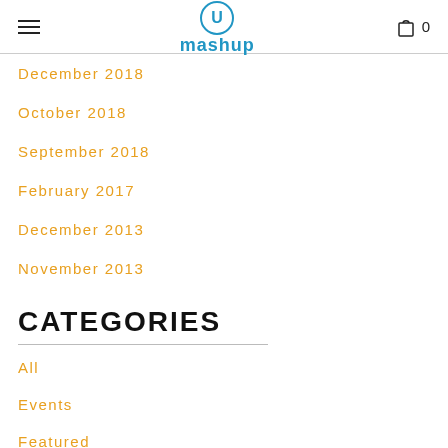mashup
December 2018
October 2018
September 2018
February 2017
December 2013
November 2013
CATEGORIES
All
Events
Featured
Health & Wellness